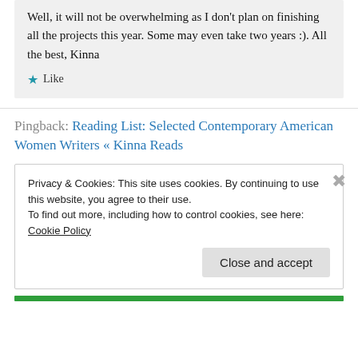Well, it will not be overwhelming as I don't plan on finishing all the projects this year. Some may even take two years :). All the best, Kinna
★ Like
Pingback: Reading List: Selected Contemporary American Women Writers « Kinna Reads
Privacy & Cookies: This site uses cookies. By continuing to use this website, you agree to their use.
To find out more, including how to control cookies, see here: Cookie Policy
Close and accept